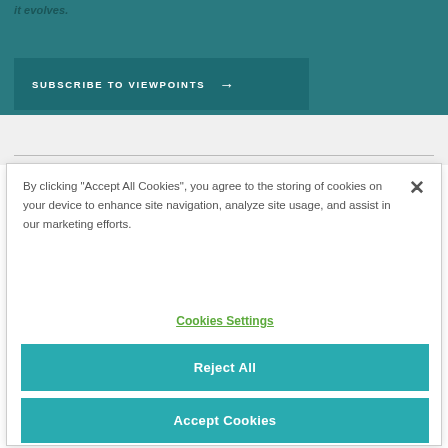it evolves.
SUBSCRIBE TO VIEWPOINTS →
By clicking "Accept All Cookies", you agree to the storing of cookies on your device to enhance site navigation, analyze site usage, and assist in our marketing efforts.
Cookies Settings
Reject All
Accept Cookies